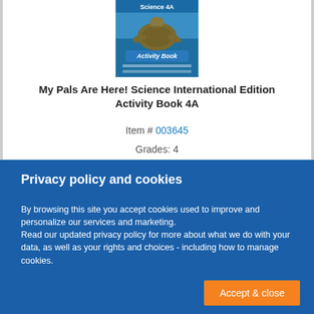[Figure (illustration): Book cover of 'My Pals Are Here! Science 4A Activity Book' featuring a sea turtle on a blue ocean background]
My Pals Are Here! Science International Edition Activity Book 4A
Item # 003645
Grades: 4
Privacy policy and cookies
By browsing this site you accept cookies used to improve and personalize our services and marketing.
Read our updated privacy policy for more about what we do with your data, as well as your rights and choices - including how to manage cookies.
Accept & close